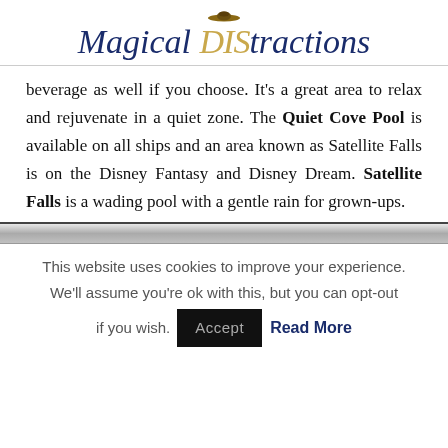Magical DIStractions
beverage as well if you choose. It's a great area to relax and rejuvenate in a quiet zone. The Quiet Cove Pool is available on all ships and an area known as Satellite Falls is on the Disney Fantasy and Disney Dream. Satellite Falls is a wading pool with a gentle rain for grown-ups.
[Figure (photo): Partial image strip visible at bottom of article content area]
This website uses cookies to improve your experience. We'll assume you're ok with this, but you can opt-out if you wish. Accept Read More